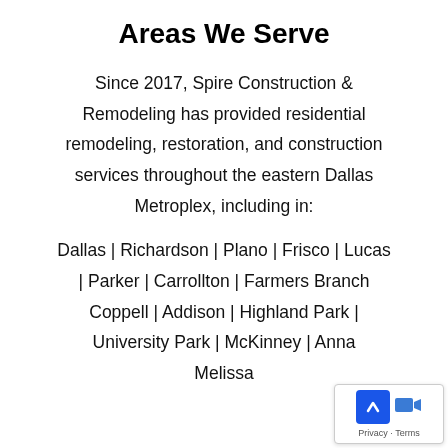Areas We Serve
Since 2017, Spire Construction & Remodeling has provided residential remodeling, restoration, and construction services throughout the eastern Dallas Metroplex, including in:
Dallas | Richardson | Plano | Frisco | Lucas | Parker | Carrollton | Farmers Branch Coppell | Addison | Highland Park | University Park | McKinney | Anna Melissa